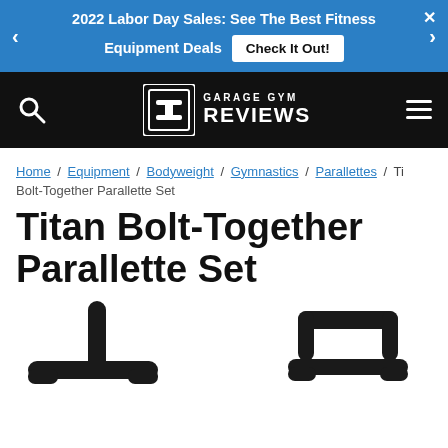2022 Labor Day Sales: See The Best Fitness Equipment Deals  Check It Out!
[Figure (logo): Garage Gym Reviews logo with icon and text on black navigation bar]
Home / Equipment / Bodyweight / Gymnastics / Parallettes / Titan Bolt-Together Parallette Set
Titan Bolt-Together Parallette Set
[Figure (photo): Product photo showing two black parallette bars (Titan Bolt-Together Parallette Set) partially visible at the bottom of the page]